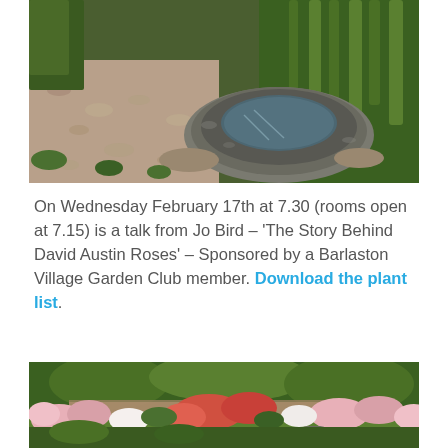[Figure (photo): Garden photo showing a stone bird bath or millstone water feature filled with water, surrounded by gravel path and green plants/irises]
On Wednesday February 17th at 7.30 (rooms open at 7.15) is a talk from Jo Bird – 'The Story Behind David Austin Roses' – Sponsored by a Barlaston Village Garden Club member. Download the plant list.
[Figure (photo): Garden photo showing a profusion of roses in pink, red and white colors growing over walls and beds, with lush green trees in the background and a stone feature in the foreground]